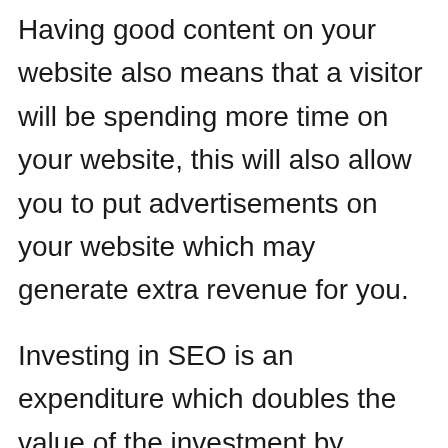Having good content on your website also means that a visitor will be spending more time on your website, this will also allow you to put advertisements on your website which may generate extra revenue for you.
Investing in SEO is an expenditure which doubles the value of the investment by providing a valuable return in the form of clients and revenue. Consumerism